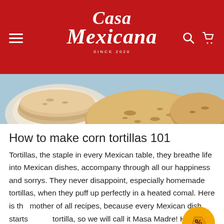Casa Mexicana SINCE 2020
[Figure (photo): Overhead photo of handmade corn tortillas on a blue background — some stacked on a plate, others loose, showing golden-brown char marks.]
How to make corn tortillas 101
Tortillas, the staple in every Mexican table, they breathe life into Mexican dishes, accompany through all our happiness and sorrys. They never disappoint, especially homemade tortillas, when they puff up perfectly in a heated comal. Here is the mother of all recipes, because every Mexican dish starts with a tortilla, so we will call it Masa Madre! Here is the true and tested